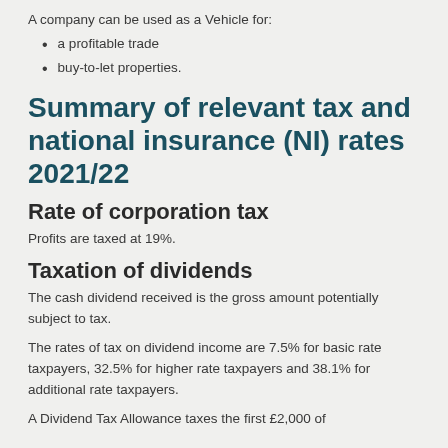A company can be used as a Vehicle for:
a profitable trade
buy-to-let properties.
Summary of relevant tax and national insurance (NI) rates 2021/22
Rate of corporation tax
Profits are taxed at 19%.
Taxation of dividends
The cash dividend received is the gross amount potentially subject to tax.
The rates of tax on dividend income are 7.5% for basic rate taxpayers, 32.5% for higher rate taxpayers and 38.1% for additional rate taxpayers.
A Dividend Tax Allowance taxes the first £2,000 of